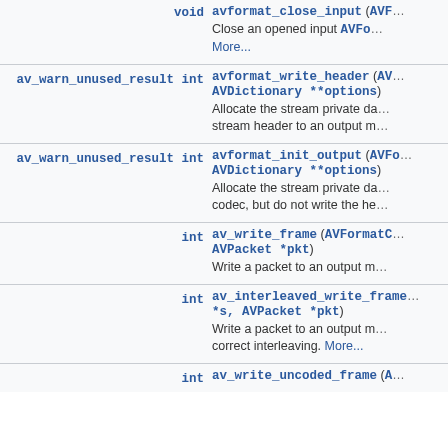| Return type | Function signature + description |
| --- | --- |
| void | avformat_close_input (AVF…
Close an opened input AVFo…
More... |
| av_warn_unused_result int | avformat_write_header (AV… AVDictionary **options)
Allocate the stream private da… stream header to an output m… |
| av_warn_unused_result int | avformat_init_output (AVFo… AVDictionary **options)
Allocate the stream private da… codec, but do not write the he… |
| int | av_write_frame (AVFormatC… AVPacket *pkt)
Write a packet to an output m… |
| int | av_interleaved_write_frame… *s, AVPacket *pkt)
Write a packet to an output m… correct interleaving. More... |
| int | av_write_uncoded_frame (A… |